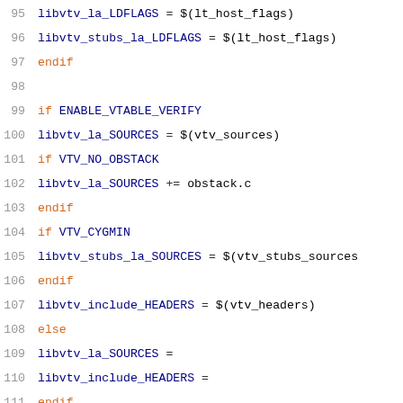[Figure (screenshot): Source code listing lines 95-116 of a Makefile or build script, showing conditional blocks for ENABLE_VTABLE_VERIFY, VTV_NO_OBSTACK, VTV_CYGMIN, and variable assignments for libvtv sources, headers, CXXVTV and CXXLD.]